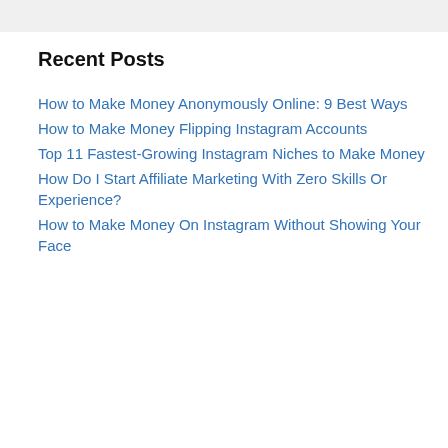Recent Posts
How to Make Money Anonymously Online: 9 Best Ways
How to Make Money Flipping Instagram Accounts
Top 11 Fastest-Growing Instagram Niches to Make Money
How Do I Start Affiliate Marketing With Zero Skills Or Experience?
How to Make Money On Instagram Without Showing Your Face